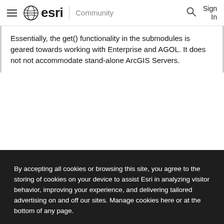esri Community
Essentially, the get() functionality in the submodules is geared towards working with Enterprise and AGOL. It does not not accommodate stand-alone ArcGIS Servers.
By accepting all cookies or browsing this site, you agree to the storing of cookies on your device to assist Esri in analyzing visitor behavior, improving your experience, and delivering tailored advertising on and off our sites. Manage cookies here or at the bottom of any page.
Accept All Cookies
Cookies Settings